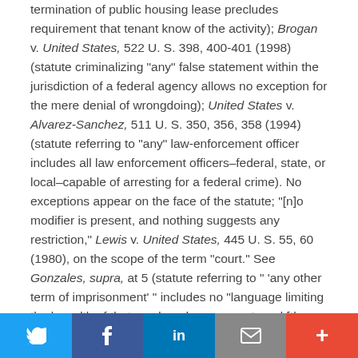termination of public housing lease precludes requirement that tenant know of the activity); Brogan v. United States, 522 U. S. 398, 400-401 (1998) (statute criminalizing "any" false statement within the jurisdiction of a federal agency allows no exception for the mere denial of wrongdoing); United States v. Alvarez-Sanchez, 511 U. S. 350, 356, 358 (1994) (statute referring to "any" law-enforcement officer includes all law enforcement officers–federal, state, or local–capable of arresting for a federal crime). No exceptions appear on the face of the statute; "[n]o modifier is present, and nothing suggests any restriction," Lewis v. United States, 445 U. S. 55, 60 (1980), on the scope of the term "court." See Gonzales, supra, at 5 (statute referring to " 'any other term of imprisonment' " includes no "language limiting the breadth of that word, and so we must read [the statute] as referring to all 'term[s] of imprisonment' "). The broad phrase "any court" unambiguously includes all judicial bodies¹ with
Twitter | Facebook | LinkedIn | Email | More